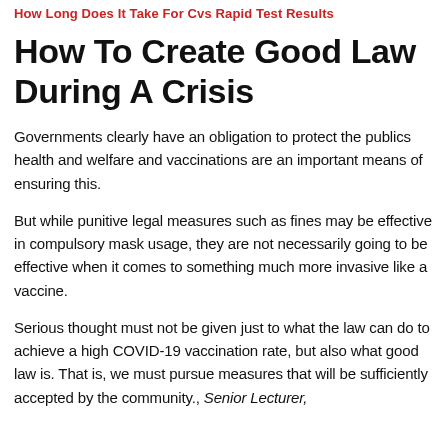How Long Does It Take For Cvs Rapid Test Results
How To Create Good Law During A Crisis
Governments clearly have an obligation to protect the publics health and welfare and vaccinations are an important means of ensuring this.
But while punitive legal measures such as fines may be effective in compulsory mask usage, they are not necessarily going to be effective when it comes to something much more invasive like a vaccine.
Serious thought must not be given just to what the law can do to achieve a high COVID-19 vaccination rate, but also what good law is. That is, we must pursue measures that will be sufficiently accepted by the community., Senior Lecturer,